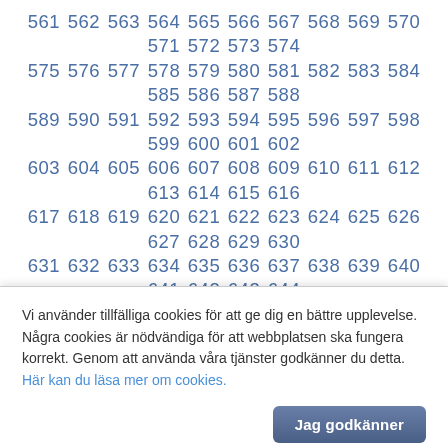561 562 563 564 565 566 567 568 569 570 571 572 573 574 575 576 577 578 579 580 581 582 583 584 585 586 587 588 589 590 591 592 593 594 595 596 597 598 599 600 601 602 603 604 605 606 607 608 609 610 611 612 613 614 615 616 617 618 619 620 621 622 623 624 625 626 627 628 629 630 631 632 633 634 635 636 637 638 639 640 641 642 643 644 645 646 647 648 649 650 651 652 653 654 655 656 657 658 659 660 661 662 663 664 665 666 667 668 669 670 671 672 673 674 675 676 677 678 679 680 681 682 683 684 685 686 687 688 689 690 691 692 693 694 695 696 697 698 699 700 701 702 703 704 705 706 707 708 709 710 711 712 713 714 715 716 717 718 719 720 721 722 723 724 725 726 727 728 729 730 731 732 733 734 735 736 737 738 739 740 741 742 743 744 745 746 747 748 749 750 751 752 753 754 755 756 757 758 759 760 761 762 763 764 765 766 767 768 769 770 771 772 773 774 775 776 777 778 779 780 781 782 783 784
Vi använder tillfälliga cookies för att ge dig en bättre upplevelse. Några cookies är nödvändiga för att webbplatsen ska fungera korrekt. Genom att använda våra tjänster godkänner du detta. Här kan du läsa mer om cookies.